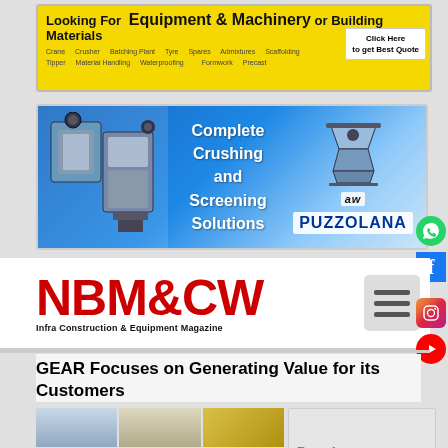[Figure (illustration): Yellow banner advertisement for equipment, machinery and building materials with categories like Crane, Crusher, Batching Plant, Tipper, Material Handling, Waterproofing, Scaffolding, Pres-stress, and a Click Here to get Best Quote button]
[Figure (illustration): Blue banner advertisement for Puzzolana showing Complete Crushing and Screening Solutions with machinery images]
[Figure (logo): NBM&CW - Infra Construction & Equipment Magazine logo header with hamburger menu icon]
GEAR Focuses on Generating Value for its Customers
[Figure (photo): Construction equipment collage showing cranes, concrete mixer trucks, and a rental truck with text 'Rental service provider for a']